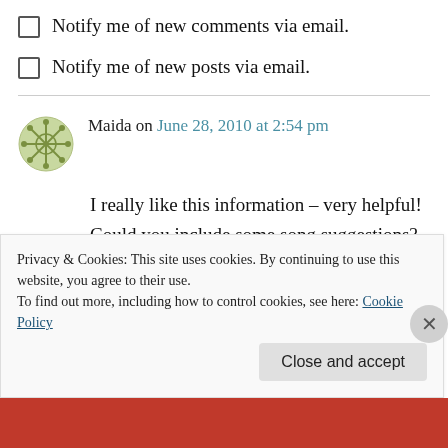Notify me of new comments via email.
Notify me of new posts via email.
Maida on June 28, 2010 at 2:54 pm
I really like this information – very helpful! Could you include some song suggestions? I’m not quite sure what you have in mind when you write “simple song”.
Reply
Privacy & Cookies: This site uses cookies. By continuing to use this website, you agree to their use.
To find out more, including how to control cookies, see here: Cookie Policy